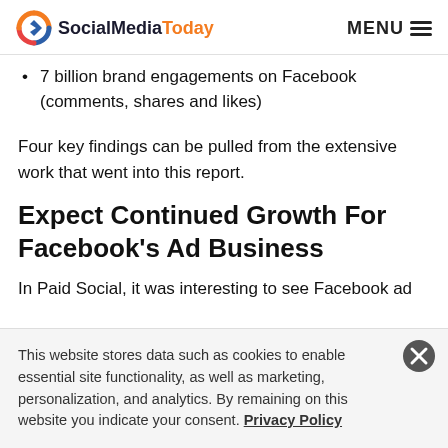SocialMediaToday | MENU
7 billion brand engagements on Facebook (comments, shares and likes)
Four key findings can be pulled from the extensive work that went into this report.
Expect Continued Growth For Facebook's Ad Business
In Paid Social, it was interesting to see Facebook ad
This website stores data such as cookies to enable essential site functionality, as well as marketing, personalization, and analytics. By remaining on this website you indicate your consent. Privacy Policy